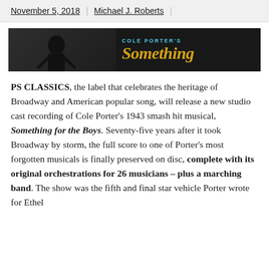November 5, 2018 | Michael J. Roberts |
[Figure (photo): Banner image for Cole Porter's 'Something for the Boys' with dark background, a figure on the left, and stylized yellow/teal text on the right reading 'COLE PORTER'S Something']
PS CLASSICS, the label that celebrates the heritage of Broadway and American popular song, will release a new studio cast recording of Cole Porter's 1943 smash hit musical, Something for the Boys. Seventy-five years after it took Broadway by storm, the full score to one of Porter's most forgotten musicals is finally preserved on disc, complete with its original orchestrations for 26 musicians – plus a marching band. The show was the fifth and final star vehicle Porter wrote for Ethel